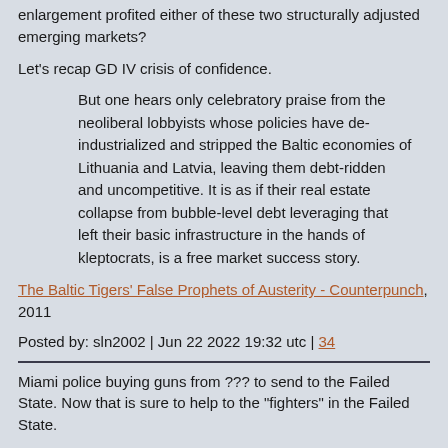enlargement profited either of these two structurally adjusted emerging markets?
Let's recap GD IV crisis of confidence.
But one hears only celebratory praise from the neoliberal lobbyists whose policies have de-industrialized and stripped the Baltic economies of Lithuania and Latvia, leaving them debt-ridden and uncompetitive. It is as if their real estate collapse from bubble-level debt leveraging that left their basic infrastructure in the hands of kleptocrats, is a free market success story.
The Baltic Tigers' False Prophets of Austerity - Counterpunch, 2011
Posted by: sln2002 | Jun 22 2022 19:32 utc | 34
Miami police buying guns from ??? to send to the Failed State. Now that is sure to help to the "fighters" in the Failed State.
https://www.washingtonpost.com/nation/2022/06/20/miami-police-ukraine-gun-buyback-weapons/
Posted by: Tom_12 | Jun 22 2022 19:34 utc | 35